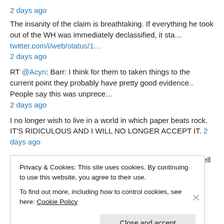2 days ago
The insanity of the claim is breathtaking. If everything he took out of the WH was immediately declassified, it sta… twitter.com/i/web/status/1…
2 days ago
RT @Acyn: Barr: I think for them to taken things to the current point they probably have pretty good evidence.. People say this was unprece…
2 days ago
I no longer wish to live in a world in which paper beats rock. IT'S RIDICULOUS AND I WILL NO LONGER ACCEPT IT. 2 days ago
If it seems unprecedented that a current President has to tell us we have to stand up and defend democracy against
Privacy & Cookies: This site uses cookies. By continuing to use this website, you agree to their use.
To find out more, including how to control cookies, see here: Cookie Policy
Close and accept